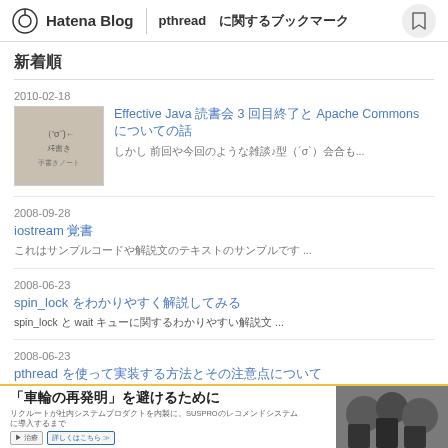Hatena Blog　pthread に関するブックマーク
新着順
2010-02-18
Effective Java 読書会 3 回目終了と Apache Commons についての話
しかし 前回や今回のような雑談♪型（´σ`）会合も... [thumbnail]
2008-09-28
iostream 覚書
これはサンプルコードや解説文の日本語テキストです ...
2008-06-23
spin_lock をわかりやすく解説してみる
spin_lock と wait キューに関するわかりやすい解説文 ...
2008-06-23
pthread を使って実装する方法とその注意点
まず pthread ライブラリの pthread に関する説明文...